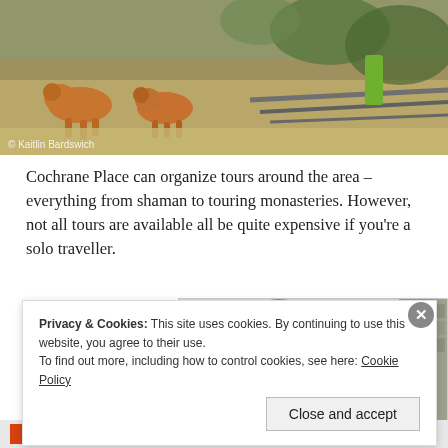[Figure (photo): Street dogs on a dirt path with green vegetation, pipes, and a green bottle in the background.]
© Kaitlin Bardswich
Cochrane Place can organize tours around the area – everything from shaman to touring monasteries. However, not all tours are available all be quite expensive if you're a solo traveller.
[Figure (photo): Close-up of ornate blue ironwork gate with swirling spiral decorations, trees and stone wall visible in background.]
Privacy & Cookies: This site uses cookies. By continuing to use this website, you agree to their use.
To find out more, including how to control cookies, see here: Cookie Policy
Close and accept